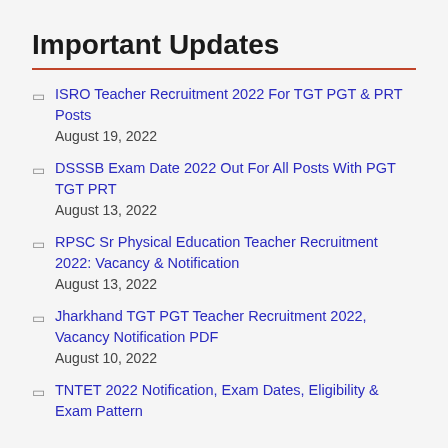Important Updates
ISRO Teacher Recruitment 2022 For TGT PGT & PRT Posts
August 19, 2022
DSSSB Exam Date 2022 Out For All Posts With PGT TGT PRT
August 13, 2022
RPSC Sr Physical Education Teacher Recruitment 2022: Vacancy & Notification
August 13, 2022
Jharkhand TGT PGT Teacher Recruitment 2022, Vacancy Notification PDF
August 10, 2022
TNTET 2022 Notification, Exam Dates, Eligibility & Exam Pattern